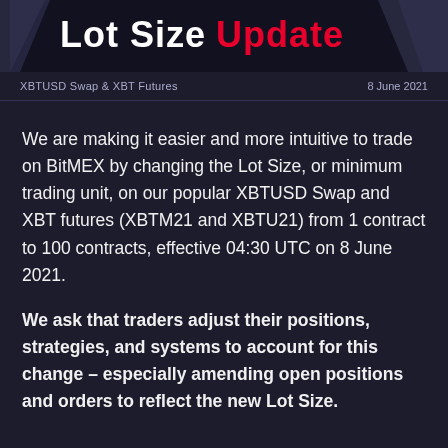Lot Size Update
XBTUSD Swap & XBT Futures    8 June 2021
We are making it easier and more intuitive to trade on BitMEX by changing the Lot Size, or minimum trading unit, on our popular XBTUSD Swap and XBT futures (XBTM21 and XBTU21) from 1 contract to 100 contracts, effective 04:30 UTC on 8 June 2021.
We ask that traders adjust their positions, strategies, and systems to account for this change – especially amending open positions and orders to reflect the new Lot Size.